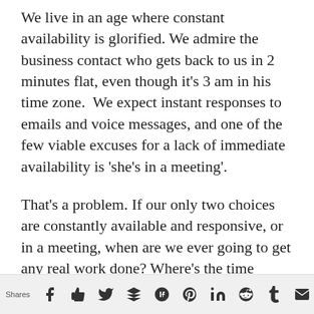We live in an age where constant availability is glorified. We admire the business contact who gets back to us in 2 minutes flat, even though it’s 3 am in his time zone.  We expect instant responses to emails and voice messages, and one of the few viable excuses for a lack of immediate availability is ‘she’s in a meeting’.
That’s a problem. If our only two choices are constantly available and responsive, or in a meeting, when are we ever going to get any real work done? Where’s the time
Shares | [social share icons: facebook, thumbs-up, twitter, buffer, google+, pinterest, linkedin, reddit, tumblr, email, crown]